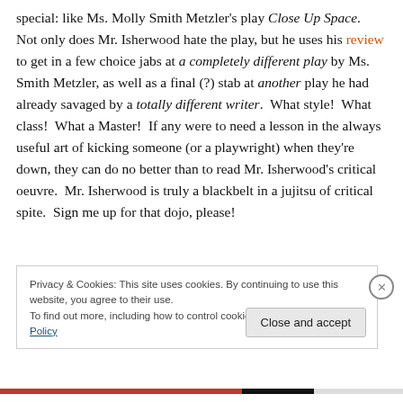special: like Ms. Molly Smith Metzler's play Close Up Space. Not only does Mr. Isherwood hate the play, but he uses his review to get in a few choice jabs at a completely different play by Ms. Smith Metzler, as well as a final (?) stab at another play he had already savaged by a totally different writer. What style! What class! What a Master! If any were to need a lesson in the always useful art of kicking someone (or a playwright) when they're down, they can do no better than to read Mr. Isherwood's critical oeuvre. Mr. Isherwood is truly a blackbelt in a jujitsu of critical spite. Sign me up for that dojo, please!
Privacy & Cookies: This site uses cookies. By continuing to use this website, you agree to their use. To find out more, including how to control cookies, see here: Cookie Policy